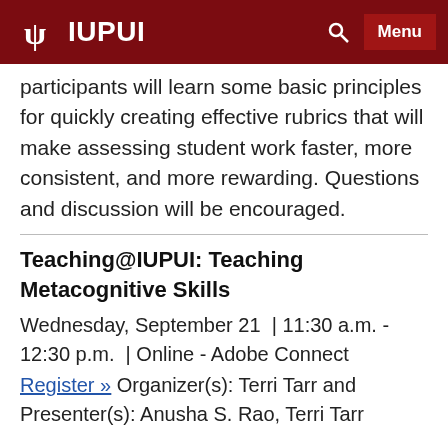IUPUI
participants will learn some basic principles for quickly creating effective rubrics that will make assessing student work faster, more consistent, and more rewarding. Questions and discussion will be encouraged.
Teaching@IUPUI: Teaching Metacognitive Skills
Wednesday, September 21  | 11:30 a.m. - 12:30 p.m.  | Online - Adobe Connect
Register » Organizer(s): Terri Tarr and Presenter(s): Anusha S. Rao, Terri Tarr